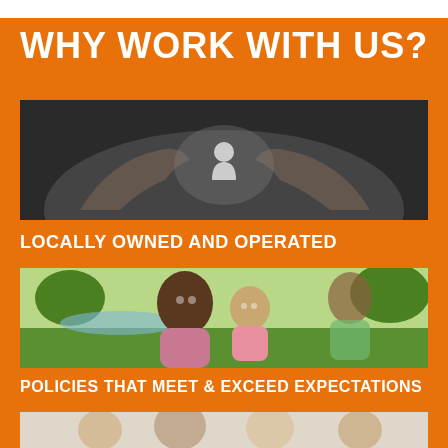WHY WORK WITH US?
[Figure (photo): Hands cupped around a small person icon representing insurance protection]
LOCALLY OWNED AND OPERATED
[Figure (photo): Smiling mother and young daughter outdoors in a park setting]
POLICIES THAT MEET & EXCEED EXPECTATIONS
[Figure (photo): Group of smiling family members including adults and children]